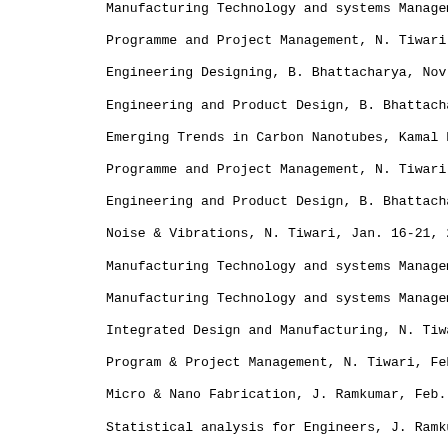Manufacturing Technology and systems Management
Programme and Project Management, N. Tiwari, Nov.
Engineering Designing, B. Bhattacharya, Nov.1, to Jan
Engineering and Product Design, B. Bhattacharya, No
Emerging Trends in Carbon Nanotubes, Kamal K. Kar,
Programme and Project Management, N. Tiwari, Dec.
Engineering and Product Design, B. Bhattacharya, De
Noise & Vibrations, N. Tiwari, Jan. 16-21, 2012
Manufacturing Technology and systems Management
Manufacturing Technology and systems Management
Integrated Design and Manufacturing, N. Tiwari & N.
Program & Project Management, N. Tiwari, Feb to Ap
Micro & Nano Fabrication, J. Ramkumar, Feb. 27-Marc
Statistical analysis for Engineers, J. Ramkumar & Sh
Advance Engine Combustion and Emission, A. K. Agrc